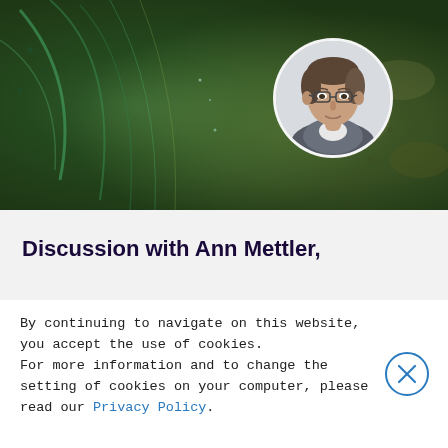[Figure (photo): Hero banner image showing close-up of green and olive-toned natural texture (leaves or plant surface), with a circular portrait photo of a man wearing glasses overlaid in the upper right area.]
Discussion with Ann Mettler,
By continuing to navigate on this website, you accept the use of cookies.
For more information and to change the setting of cookies on your computer, please read our Privacy Policy.